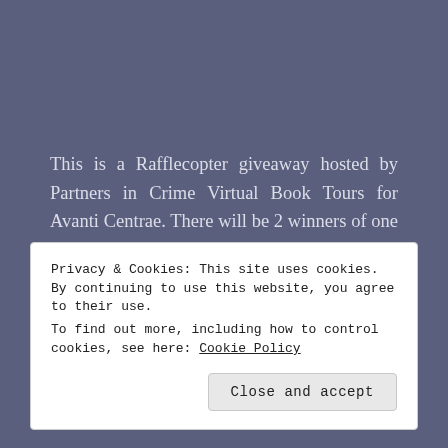This is a Rafflecopter giveaway hosted by Partners in Crime Virtual Book Tours for Avanti Centrae. There will be 2 winners of one (1) Amazon.com Gift Card each. The giveaway begins on November 4, 2019, and runs through January 13, 2020. Void where prohibited.
Privacy & Cookies: This site uses cookies. By continuing to use this website, you agree to their use.
To find out more, including how to control cookies, see here: Cookie Policy